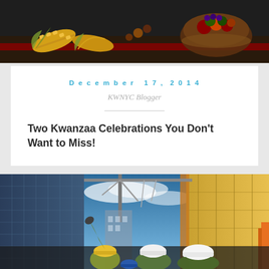[Figure (photo): Kwanzaa harvest table scene with corn, fruit bowls and decorative items on a dark surface]
December 17, 2014
KWNYC Blogger
Two Kwanzaa Celebrations You Don't Want to Miss!
[Figure (photo): Construction site scene viewed from below, showing workers in hard hats, cranes, and tall buildings under construction against a blue sky]